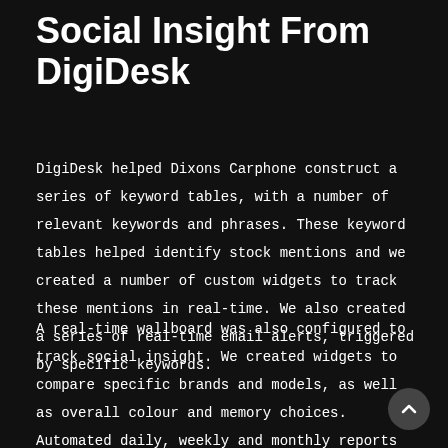Social Insight From DigiDesk
DigiDesk helped Dixons Carphone construct a series of keyword tables, with a number of relevant keywords and phrases. These keyword tables helped identify stock mentions and we created a number of custom widgets to track these mentions in real-time. We also created a series of real-time email alerts, triggered by specific keywords.
A real-time wallboard was also configured to track social insight. We created widgets to compare specific brands and models, as well as overall colour and memory choices. Automated daily, weekly and monthly reports were generated to